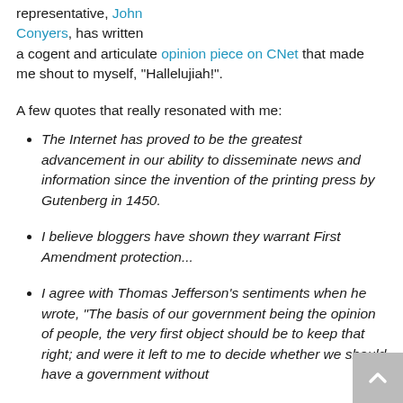representative, John Conyers, has written a cogent and articulate opinion piece on CNet that made me shout to myself, "Hallelujiah!".
A few quotes that really resonated with me:
The Internet has proved to be the greatest advancement in our ability to disseminate news and information since the invention of the printing press by Gutenberg in 1450.
I believe bloggers have shown they warrant First Amendment protection...
I agree with Thomas Jefferson's sentiments when he wrote, "The basis of our government being the opinion of people, the very first object should be to keep that right; and were it left to me to decide whether we should have a government without